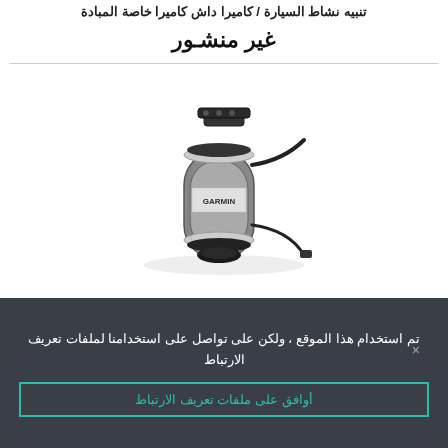تنبيه نشاط السيارة / كاميرا داش كاميرا خاصة المبادة
غير منشور
[Figure (photo): A Garmin transducer or sensor device, cylindrical black and silver body with mounting bracket and cables attached, shown on a white background.]
تم استخدام هذا الموقع ، ولكن على تواصل على استخدامنا لملفات تعريف الارتباط
أوافق على ملفات تعريف الارتباط